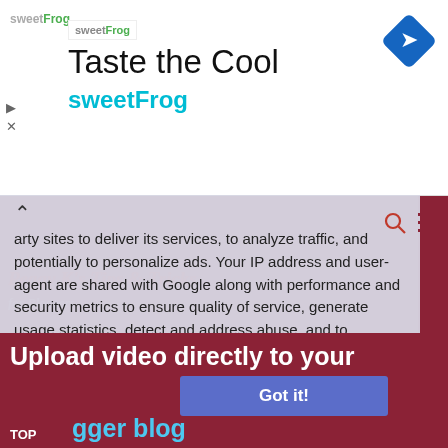[Figure (screenshot): SweetFrog advertisement banner with logo, 'Taste the Cool' heading, and 'sweetFrog' subtitle in teal. Navigation diamond icon on top right.]
arty sites to deliver its services, to analyze traffic, and potentially to personalize ads. Your IP address and user-agent are shared with Google along with performance and security metrics to ensure quality of service, generate usage statistics, detect and address abuse, and to improve Google products. Click "Learn more" to learn how your data is used, and change your cookie and privacy settings. By using this site, you agree to its use of cookies and other data.
Learn more
[Figure (screenshot): Bottom portion showing 'Upload video directly to your blogger blog' text with a 'Got it!' button and 'TOP' label.]